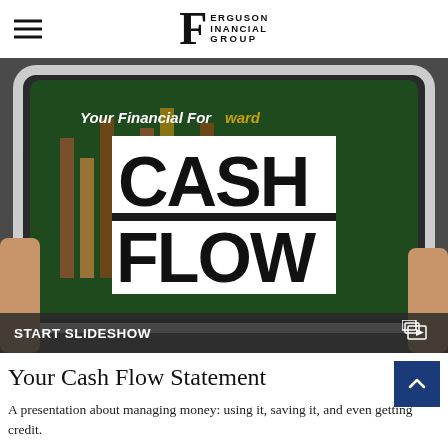Ferguson Financial Group
[Figure (photo): Hero image of hands holding a tablet displaying 'Your Financial Forward' with a financial chart. Large white overlay box reads 'CASH FLOW' in bold black letters. Bottom bar shows 'START SLIDESHOW' with a slideshow icon.]
Your Cash Flow Statement
A presentation about managing money: using it, saving it, and even getting credit.